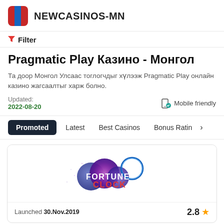NEWCASINOS-MN
Filter
Pragmatic Play Казино - Монгол
Та доор Монгол Улсаас тоглогчдыг хүлээж Pragmatic Play онлайн казино жагсаалтыг харж болно.
Updated: 2022-08-20
Mobile friendly
Promoted   Latest   Best Casinos   Bonus Rating
[Figure (logo): Fortune Clock casino logo - decorative balls and clock graphic with text FORTUNE CLOCK]
Launched 30.Nov.2019   2.8